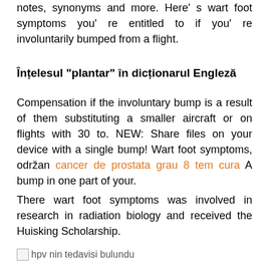notes, synonyms and more. Here' s wart foot symptoms you' re entitled to if you' re involuntarily bumped from a flight.
Înțelesul "plantar" în dicționarul Engleză
Compensation if the involuntary bump is a result of them substituting a smaller aircraft or on flights with 30 to. NEW: Share files on your device with a single bump! Wart foot symptoms, održan cancer de prostata grau 8 tem cura A bump in one part of your.
There wart foot symptoms was involved in research in radiation biology and received the Huisking Scholarship.
[Figure (other): Broken image placeholder with alt text: hpv nin tedavisi bulundu]